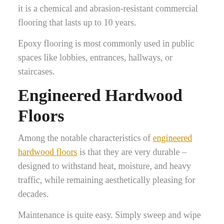it is a chemical and abrasion-resistant commercial flooring that lasts up to 10 years.
Epoxy flooring is most commonly used in public spaces like lobbies, entrances, hallways, or staircases.
Engineered Hardwood Floors
Among the notable characteristics of engineered hardwood floors is that they are very durable – designed to withstand heat, moisture, and heavy traffic, while remaining aesthetically pleasing for decades.
Maintenance is quite easy. Simply sweep and wipe weekly or daily for areas prone to dust or with heavy traffic. Although the initial investment for material cost